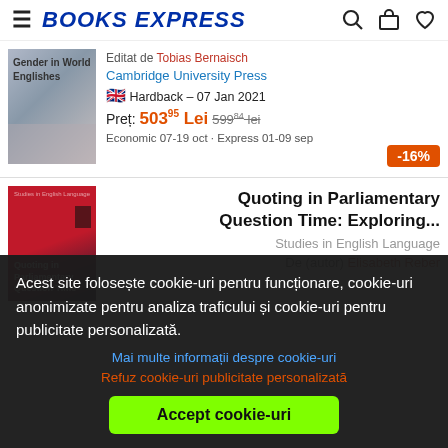BOOKS EXPRESS
[Figure (screenshot): Book cover for Gender in World Englishes with grey/blue tones]
Editat de Tobias Bernaisch
Cambridge University Press
Hardback – 07 Jan 2021
Preț: 503.95 Lei 599.84 lei
Economic 07-19 oct · Express 01-09 sep
-16%
[Figure (screenshot): Book cover for Quoting in Parliamentary Question Time with red/dark tones]
Quoting in Parliamentary Question Time: Exploring...
Studies in English Language
De (autor) Elisabeth Reber
Acest site folosește cookie-uri pentru funcționare, cookie-uri anonimizate pentru analiza traficului și cookie-uri pentru publicitate personalizată.
Mai multe informații despre cookie-uri
Refuz cookie-uri publicitate personalizată
Accept cookie-uri